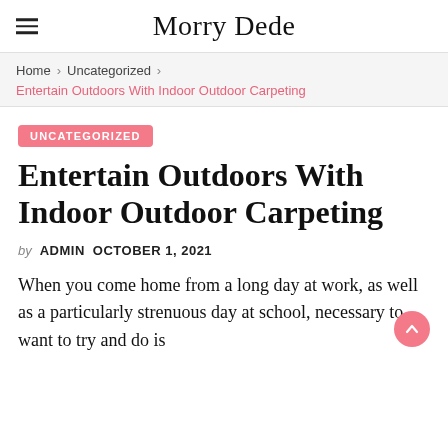Morry Dede
Home > Uncategorized > Entertain Outdoors With Indoor Outdoor Carpeting
UNCATEGORIZED
Entertain Outdoors With Indoor Outdoor Carpeting
by ADMIN   OCTOBER 1, 2021
When you come home from a long day at work, as well as a particularly strenuous day at school, necessary to want to try and do is